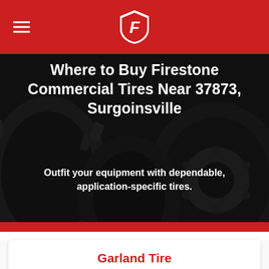Firestone (navigation bar with hamburger menu and Firestone shield logo)
Where to Buy Firestone Commercial Tires Near 37873, Surgoinsville
[Figure (photo): Dark background photo of large commercial/agricultural tires]
Outfit your equipment with dependable, application-specific tires.
Garland Tire
1212 N Main Ave
Erwin, TN 37650
Hours Today:: Closed